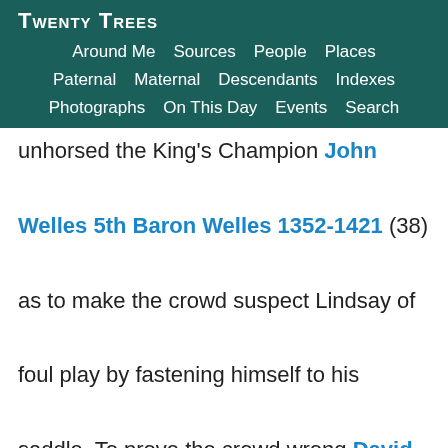Twenty Trees
Around Me  Sources  People  Places
Paternal  Maternal  Descendants  Indexes
Photographs  On This Day  Events  Search
unhorsed the King's Champion John Welles 5th Baron Welles 1352-1421 (38) as to make the crowd suspect Lindsay of foul play by fastening himself to his saddle. To prove the crowd wrong David Lindsay 1st Earl Crawford 1360-1407 (30) leapt from his horse in full armour,